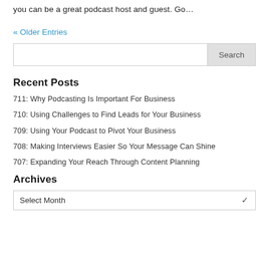you can be a great podcast host and guest.  Go…
« Older Entries
Search
Recent Posts
711: Why Podcasting Is Important For Business
710: Using Challenges to Find Leads for Your Business
709: Using Your Podcast to Pivot Your Business
708: Making Interviews Easier So Your Message Can Shine
707: Expanding Your Reach Through Content Planning
Archives
Select Month